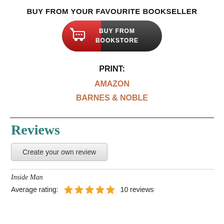BUY FROM YOUR FAVOURITE BOOKSELLER
[Figure (illustration): A red and dark grey pill-shaped button with a shopping cart icon on the left (red section) and text 'BUY FROM BOOKSTORE' on the right (dark grey/black section)]
PRINT:
AMAZON
BARNES & NOBLE
Reviews
Create your own review
Inside Man
Average rating: ★★★★★ 10 reviews